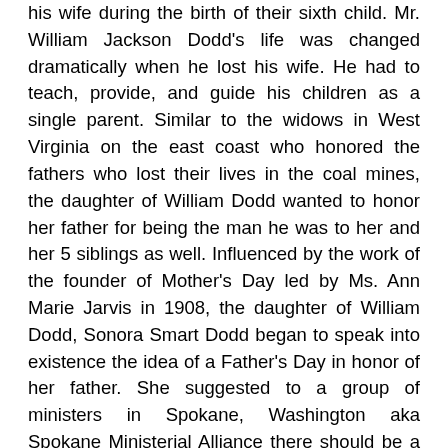his wife during the birth of their sixth child. Mr. William Jackson Dodd's life was changed dramatically when he lost his wife. He had to teach, provide, and guide his children as a single parent. Similar to the widows in West Virginia on the east coast who honored the fathers who lost their lives in the coal mines, the daughter of William Dodd wanted to honor her father for being the man he was to her and her 5 siblings as well. Influenced by the work of the founder of Mother's Day led by Ms. Ann Marie Jarvis in 1908, the daughter of William Dodd, Sonora Smart Dodd began to speak into existence the idea of a Father's Day in honor of her father. She suggested to a group of ministers in Spokane, Washington aka Spokane Ministerial Alliance there should be a day where all fathers are honored annually. Sonora Dodd specified the day should be on June 5th because that was the day her father was born. The Spokane Ministerial Alliance agreed with Sonora in terms of all fathers